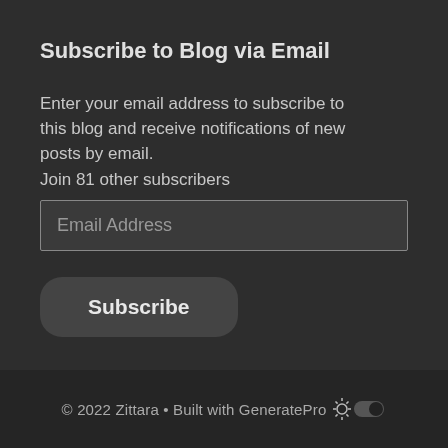Subscribe to Blog via Email
Enter your email address to subscribe to this blog and receive notifications of new posts by email.
Join 81 other subscribers
Email Address
Subscribe
© 2022 Zittara • Built with GeneratePro